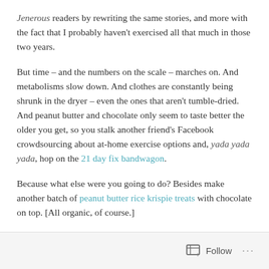Jenerous readers by rewriting the same stories, and more with the fact that I probably haven't exercised all that much in those two years.
But time – and the numbers on the scale – marches on. And metabolisms slow down. And clothes are constantly being shrunk in the dryer – even the ones that aren't tumble-dried. And peanut butter and chocolate only seem to taste better the older you get, so you stalk another friend's Facebook crowdsourcing about at-home exercise options and, yada yada yada, hop on the 21 day fix bandwagon.
Because what else were you going to do? Besides make another batch of peanut butter rice krispie treats with chocolate on top. [All organic, of course.]
Follow ···